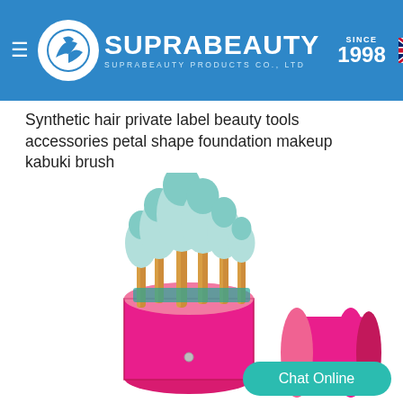SUPRABEAUTY | SINCE 1998 | SUPRABEAUTY PRODUCTS CO., LTD
Synthetic hair private label beauty tools accessories petal shape foundation makeup kabuki brush
[Figure (photo): Makeup brush set with teal/mint colored bristle tips and gold metallic handles, displayed in a hot pink cylindrical leather case with a matching closed case lying behind it. A 'Chat Online' teal button overlays the bottom right.]